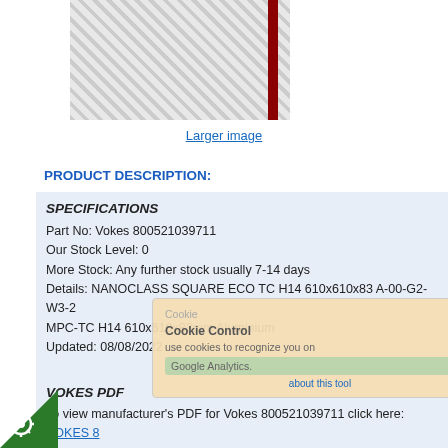[Figure (photo): Product photo of a filter panel with diamond/mesh texture and red stripe on the right edge]
Larger image
PRODUCT DESCRIPTION:
SPECIFICATIONS
Part No: Vokes 800521039711
Our Stock Level: 0
More Stock: Any further stock usually 7-14 days
Details: NANOCLASS SQUARE ECO TC H14 610x610x83 A-00-G2-W3-2 MPC-TC H14 610x610x83mm Aluminium
Updated: 08/08/2022
VOKES PDF
To view manufacturer's PDF for Vokes 800521039711 click here: VOKES 8...
VOKES DATA
To view manufacturer's Technical Data on this Vokes 800521039711 produ...
VOKES TECHNICAL
To search for manufacturer's Technical Data on any Vokes product click he...
DIMENSIONS
Height: 83mm
WidthMax: 610mm
WidthMin: 610mm